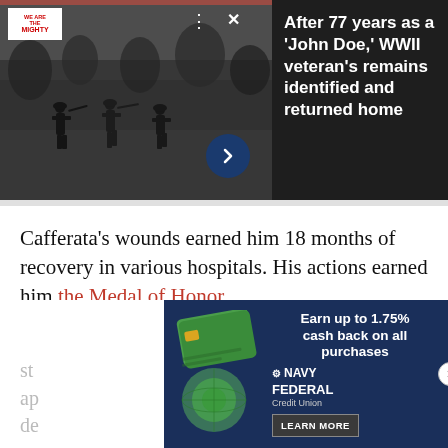[Figure (photo): Black and white WWII photo of soldiers running in a field, with We Are The Mighty logo overlay, navigation controls, and arrow button.]
After 77 years as a 'John Doe,' WWII veteran's remains identified and returned home
Cafferata's wounds earned him 18 months of recovery in various hospitals. His actions earned him the Medal of Honor.
The day after Cafferata's amazing st... ap... de...
[Figure (infographic): Navy Federal Credit Union advertisement: Earn up to 1.75% cash back on all purchases. LEARN MORE button.]